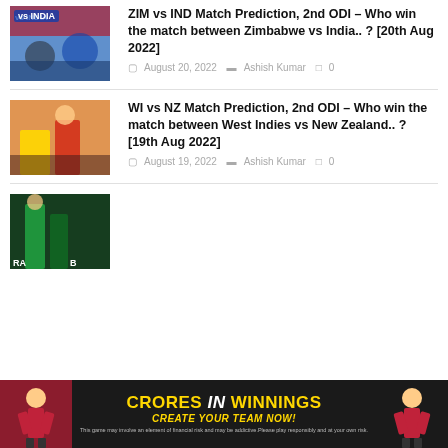[Figure (photo): Cricket match photo with 'vs INDIA' text overlay, ZIM vs IND]
ZIM vs IND Match Prediction, 2nd ODI – Who win the match between Zimbabwe vs India.. ? [20th Aug 2022]
August 20, 2022   Ashish Kumar   0
[Figure (photo): Cricket player in yellow jersey celebrating, WI vs NZ]
WI vs NZ Match Prediction, 2nd ODI – Who win the match between West Indies vs New Zealand.. ? [19th Aug 2022]
August 19, 2022   Ashish Kumar   0
[Figure (photo): Cricket player in green jersey, partially visible third article]
[Figure (photo): Banner advertisement: CRORES IN WINNINGS - CREATE YOUR TEAM NOW!]